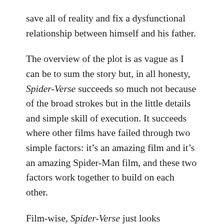save all of reality and fix a dysfunctional relationship between himself and his father.
The overview of the plot is as vague as I can be to sum the story but, in all honesty, Spider-Verse succeeds so much not because of the broad strokes but in the little details and simple skill of execution. It succeeds where other films have failed through two simple factors: it's an amazing film and it's an amazing Spider-Man film, and these two factors work together to build on each other.
Film-wise, Spider-Verse just looks gorgeous. Though I was originally a little off-set by the art-style, in the motion of the movie, the art-style really came into its own. It didn't feel as offsetting in the trailers and the